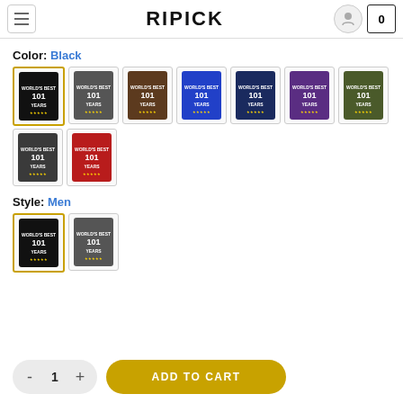RIPICK
Color: Black
[Figure (screenshot): Grid of 9 t-shirt color swatches: Black (selected), Dark Gray, Brown, Royal Blue, Navy, Purple, Olive, Charcoal, Red]
Style: Men
[Figure (screenshot): Two style swatches: Men's cut (Black, selected) and Women's cut (Dark Gray)]
ADD TO CART